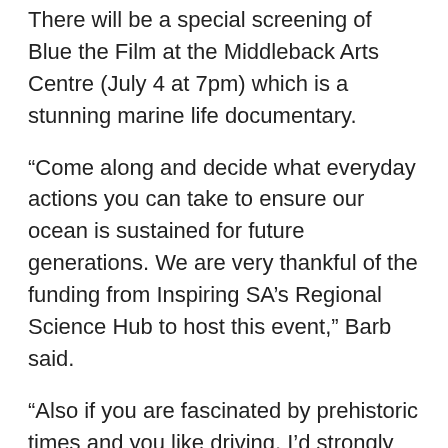There will be a special screening of Blue the Film at the Middleback Arts Centre (July 4 at 7pm) which is a stunning marine life documentary.
“Come along and decide what everyday actions you can take to ensure our ocean is sustained for future generations. We are very thankful of the funding from Inspiring SA’s Regional Science Hub to host this event,” Barb said.
“Also if you are fascinated by prehistoric times and you like driving, I’d strongly encourage you to go on a self-guided journey to discover the stranded shingle ridges at Fitzgerald Bay.
“It’s just a 20 minute drive to see the geological feature unique to Whyalla and it really gets you thinking about climate and the marine environment.